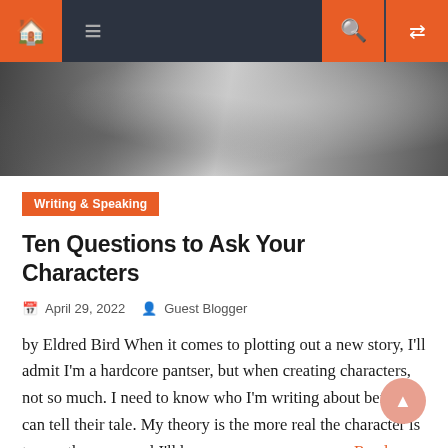[Figure (screenshot): Website navigation bar with home, menu, search, and shuffle icons on dark background]
[Figure (photo): Partial hero image showing blurred figures, appears to be people in dark clothing]
Writing & Speaking
Ten Questions to Ask Your Characters
April 29, 2022   Guest Blogger
by Eldred Bird When it comes to plotting out a new story, I'll admit I'm a hardcore pantser, but when creating characters, not so much. I need to know who I'm writing about before I can tell their tale. My theory is the more real the character is to me, the more real I'll be   Read more